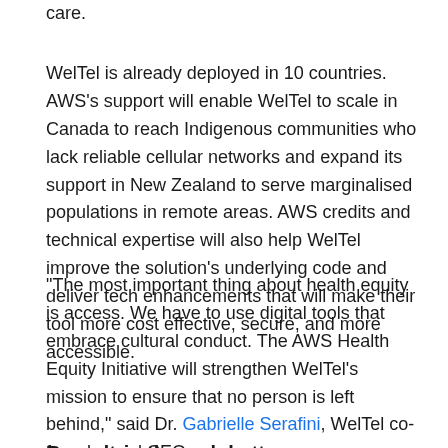care.
WelTel is already deployed in 10 countries. AWS's support will enable WelTel to scale in Canada to reach Indigenous communities who lack reliable cellular networks and expand its support in New Zealand to serve marginalised populations in remote areas. AWS credits and technical expertise will also help WelTel improve the solution's underlying code and deliver tech enhancements that will make their tool more cost effective, secure, and more accessible.
“The most important thing about health equity is access. We have to use digital tools that embrace cultural conduct. The AWS Health Equity Initiative will strengthen WelTel’s mission to ensure that no person is left behind,” said Dr. Gabrielle Serafini, WelTel co-founder and CEO.
Roundtrip through better transportation